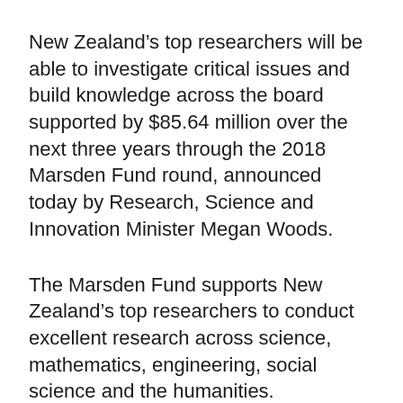New Zealand’s top researchers will be able to investigate critical issues and build knowledge across the board supported by $85.64 million over the next three years through the 2018 Marsden Fund round, announced today by Research, Science and Innovation Minister Megan Woods.
The Marsden Fund supports New Zealand’s top researchers to conduct excellent research across science, mathematics, engineering, social science and the humanities.
This year 136 new proposals have received funding across a range of disciplines and topics,